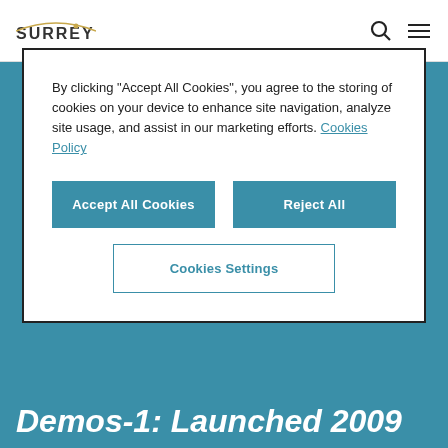SURREY [logo] [search icon] [menu icon]
2000-2009
By clicking “Accept All Cookies”, you agree to the storing of cookies on your device to enhance site navigation, analyze site usage, and assist in our marketing efforts. Cookies Policy
Accept All Cookies
Reject All
Cookies Settings
Demos-1: Launched 2009